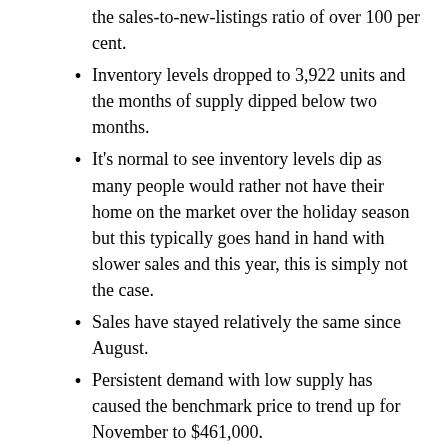the sales-to-new-listings ratio of over 100 per cent.
Inventory levels dropped to 3,922 units and the months of supply dipped below two months.
It's normal to see inventory levels dip as many people would rather not have their home on the market over the holiday season but this typically goes hand in hand with slower sales and this year, this is simply not the case.
Sales have stayed relatively the same since August.
Persistent demand with low supply has caused the benchmark price to trend up for November to $461,000.
Calgary's Detached Market
Conditions continued to tighten in November, sales-to-new-listings ratio  pushed up to 118 per cent and the